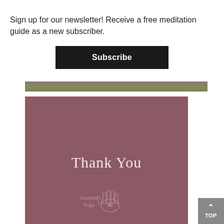Sign up for our newsletter! Receive a free meditation guide as a new subscriber.
Subscribe
[Figure (photo): Partial banner image with dark mauve and olive green horizontal strips]
[Figure (illustration): Mauve/dusty rose colored card with 'Thank You' text in serif font and an Anahata Yoga logo illustration at the bottom]
TOP